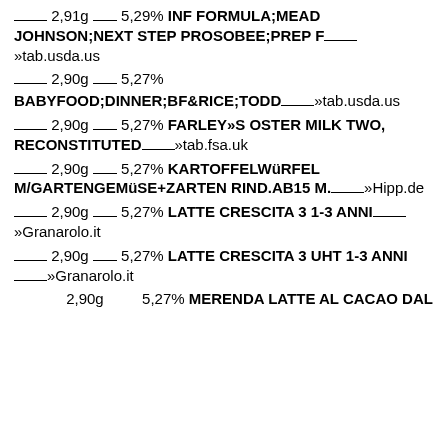___2,91g __ 5,29% INF FORMULA;MEAD JOHNSON;NEXT STEP PROSOBEE;PREP F___»tab.usda.us
___2,90g __ 5,27%
BABYFOOD;DINNER;BF&RICE;TODD___»tab.usda.us
___2,90g __ 5,27% FARLEY»S OSTER MILK TWO, RECONSTITUTED___»tab.fsa.uk
___2,90g __ 5,27% KARTOFFELWüRFEL M/GARTENGEMüSE+ZARTEN RIND.AB15 M.___»Hipp.de
___2,90g __ 5,27% LATTE CRESCITA 3 1-3 ANNI___»Granarolo.it
___2,90g __ 5,27% LATTE CRESCITA 3 UHT 1-3 ANNI___»Granarolo.it
2,90g      5,27% MERENDA LATTE AL CACAO DAL